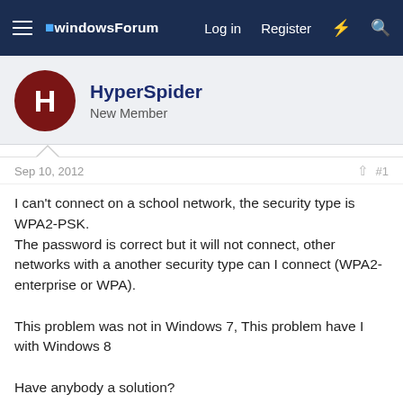windowsForum — Log in  Register
HyperSpider
New Member
Sep 10, 2012   #1
I can't connect on a school network, the security type is WPA2-PSK.
The password is correct but it will not connect, other networks with a another security type can I connect (WPA2-enterprise or WPA).

This problem was not in Windows 7, This problem have I with Windows 8

Have anybody a solution?
Last edited by a moderator: Sep 11, 2012
Reply